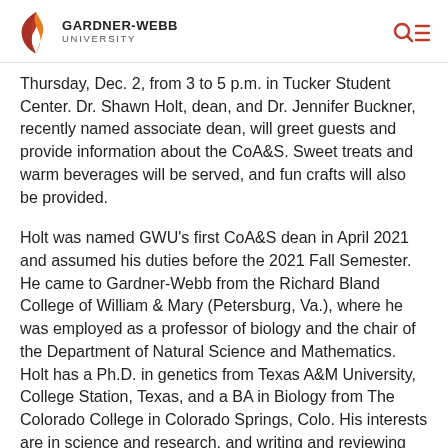GARDNER-WEBB UNIVERSITY
Thursday, Dec. 2, from 3 to 5 p.m. in Tucker Student Center. Dr. Shawn Holt, dean, and Dr. Jennifer Buckner, recently named associate dean, will greet guests and provide information about the CoA&S. Sweet treats and warm beverages will be served, and fun crafts will also be provided.
Holt was named GWU's first CoA&S dean in April 2021 and assumed his duties before the 2021 Fall Semester. He came to Gardner-Webb from the Richard Bland College of William & Mary (Petersburg, Va.), where he was employed as a professor of biology and the chair of the Department of Natural Science and Mathematics. Holt has a Ph.D. in genetics from Texas A&M University, College Station, Texas, and a BA in Biology from The Colorado College in Colorado Springs, Colo. His interests are in science and research, and writing and reviewing